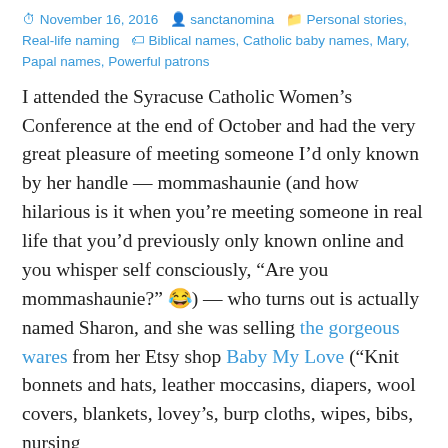November 16, 2016  sanctanomina  Personal stories, Real-life naming  Biblical names, Catholic baby names, Mary, Papal names, Powerful patrons
I attended the Syracuse Catholic Women’s Conference at the end of October and had the very great pleasure of meeting someone I’d only known by her handle — mommashaunie (and how hilarious is it when you’re meeting someone in real life that you’d previously only known online and you whisper self consciously, “Are you mommashaunie?” 😂) — who turns out is actually named Sharon, and she was selling the gorgeous wares from her Etsy shop Baby My Love (“Knit bonnets and hats, leather moccasins, diapers, wool covers, blankets, lovey’s, burp cloths, wipes, bibs, nursing